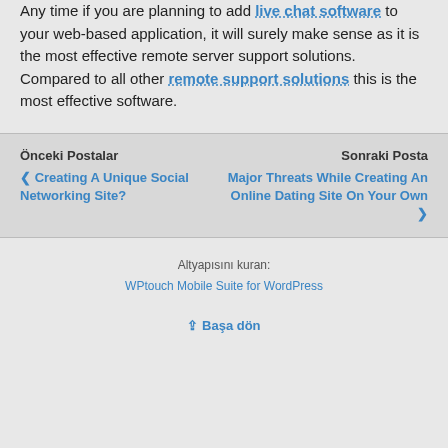Any time if you are planning to add live chat software to your web-based application, it will surely make sense as it is the most effective remote server support solutions. Compared to all other remote support solutions this is the most effective software.
Önceki Postalar | Sonraki Posta
❮ Creating A Unique Social Networking Site?
Major Threats While Creating An Online Dating Site On Your Own ❯
Altyapısını kuran: WPtouch Mobile Suite for WordPress
⇪ Başa dön